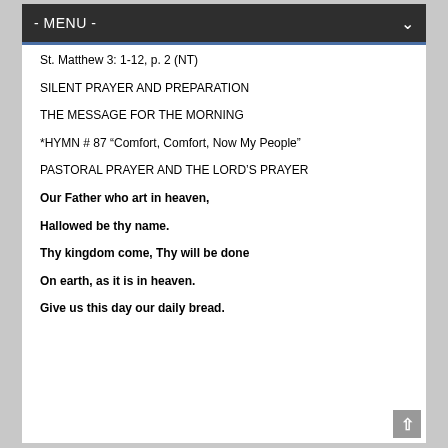- MENU -
St. Matthew 3: 1-12, p. 2 (NT)
SILENT PRAYER AND PREPARATION
THE MESSAGE FOR THE MORNING
*HYMN # 87 “Comfort, Comfort, Now My People”
PASTORAL PRAYER AND THE LORD’S PRAYER
Our Father who art in heaven,
Hallowed be thy name.
Thy kingdom come, Thy will be done
On earth, as it is in heaven.
Give us this day our daily bread.